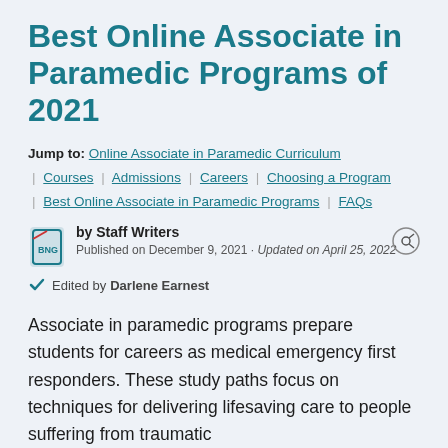Best Online Associate in Paramedic Programs of 2021
Jump to: Online Associate in Paramedic Curriculum | Courses | Admissions | Careers | Choosing a Program | Best Online Associate in Paramedic Programs | FAQs
by Staff Writers
Published on December 9, 2021 · Updated on April 25, 2022
Edited by Darlene Earnest
Associate in paramedic programs prepare students for careers as medical emergency first responders. These study paths focus on techniques for delivering lifesaving care to people suffering from traumatic